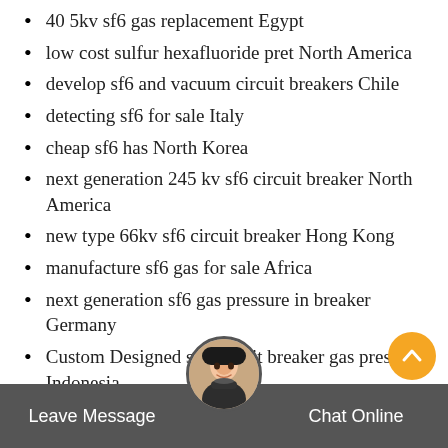40 5kv sf6 gas replacement Egypt
low cost sulfur hexafluoride pret North America
develop sf6 and vacuum circuit breakers Chile
detecting sf6 for sale Italy
cheap sf6 has North Korea
next generation 245 kv sf6 circuit breaker North America
new type 66kv sf6 circuit breaker Hong Kong
manufacture sf6 gas for sale Africa
next generation sf6 gas pressure in breaker Germany
Custom Designed sf6 circuit breaker gas pressure Indonesia
220kv sf6 circuit breaker Mexico
detecting 11kv sf6 circuit breaker Russia
Leave Message   Chat Online